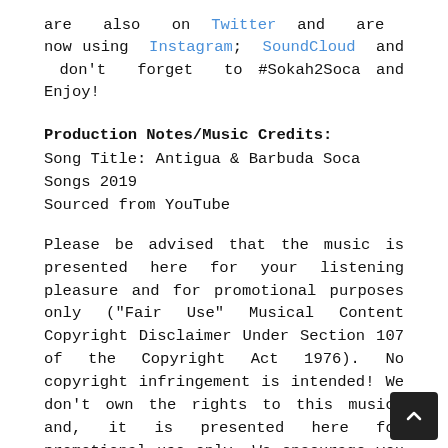are also on Twitter and are now using Instagram; SoundCloud and don't forget to #Sokah2Soca and Enjoy!
Production Notes/Music Credits:
Song Title: Antigua & Barbuda Soca Songs 2019
Sourced from YouTube
Please be advised that the music is presented here for your listening pleasure and for promotional purposes only ("Fair Use" Musical Content Copyright Disclaimer Under Section 107 of the Copyright Act 1976). No copyright infringement is intended! We don't own the rights to this music: and, it is presented here for promotional use only. We encourage you to promote the artists and their music; please don't download and share the music and rob the artists of needed income! Music for sale should be purchased while music distributed for promotion purposes should be treated